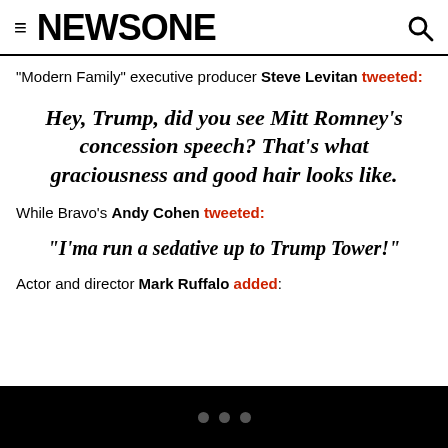NEWSONE
“Modern Family” executive producer Steve Levitan tweeted:
Hey, Trump, did you see Mitt Romney’s concession speech? That’s what graciousness and good hair looks like.
While Bravo’s Andy Cohen tweeted:
“I’ma run a sedative up to Trump Tower!”
Actor and director Mark Ruffalo added: